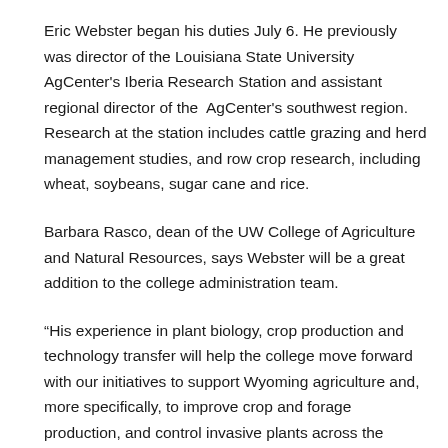Eric Webster began his duties July 6. He previously was director of the Louisiana State University AgCenter's Iberia Research Station and assistant regional director of the AgCenter's southwest region. Research at the station includes cattle grazing and herd management studies, and row crop research, including wheat, soybeans, sugar cane and rice.
Barbara Rasco, dean of the UW College of Agriculture and Natural Resources, says Webster will be a great addition to the college administration team.
“His experience in plant biology, crop production and technology transfer will help the college move forward with our initiatives to support Wyoming agriculture and, more specifically, to improve crop and forage production, and control invasive plants across the state,” she says. “We look forward to him leading broad, collegewide initiatives in research and infrastructure improvements across the state.”